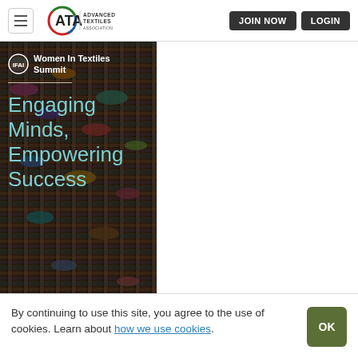ATA Advanced Textiles Association | JOIN NOW | LOGIN
[Figure (screenshot): Hero banner image for Women In Textiles Summit showing colorful woven textile spools in the background with dark overlay. Text overlay reads 'Women In Textiles Summit' with IFAI logo, and large text 'Engaging Minds, Empowering Success' in teal/cyan color.]
By continuing to use this site, you agree to the use of cookies. Learn about how we use cookies.